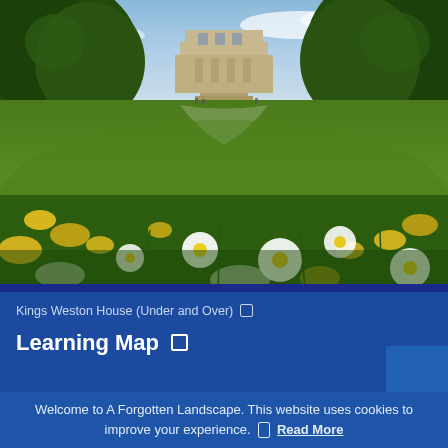[Figure (photo): Photograph of Kings Weston House, a Georgian mansion visible in the background across a green meadow, with wildflowers including daisies and dandelions in the foreground.]
Kings Weston House (Under and Over) □
Learning Map □
Welcome to A Forgotten Landscape. This website uses cookies to improve your experience. □ Read More